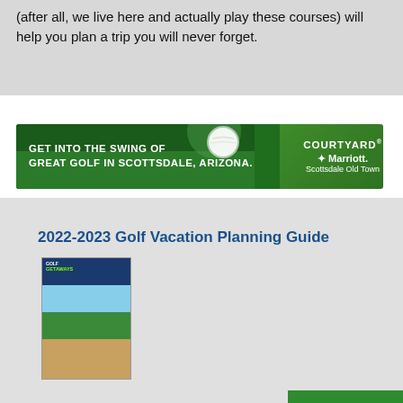(after all, we live here and actually play these courses) will help you plan a trip you will never forget.
[Figure (infographic): Courtyard Marriott Scottsdale Old Town advertisement banner: green background with golf ball image on left side, text reads GET INTO THE SWING OF GREAT GOLF IN SCOTTSDALE, ARIZONA. on the left panel, and COURTYARD Marriott Scottsdale Old Town logo on the right green panel.]
2022-2023 Golf Vacation Planning Guide
[Figure (photo): Cover of Golf Getaways 2022-2023 Golf Vacation Planning Guide booklet showing a golf course with green fairways and water features.]
CHAT BUTTON